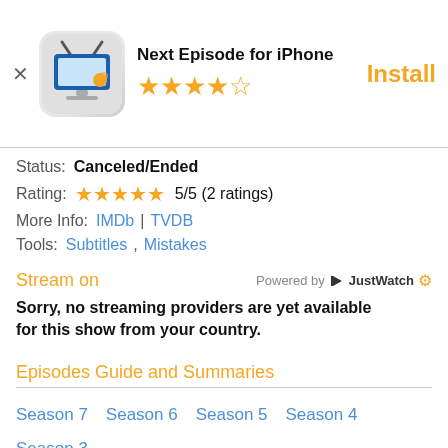[Figure (screenshot): App banner for Next Episode for iPhone with icon and star rating]
Status: Canceled/Ended
Rating: 5/5 (2 ratings)
More Info: IMDb | TVDB
Tools: Subtitles, Mistakes
Stream on
Sorry, no streaming providers are yet available for this show from your country.
Episodes Guide and Summaries
Season 7
Season 6
Season 5
Season 4
Season 3
Season 2
Season 1